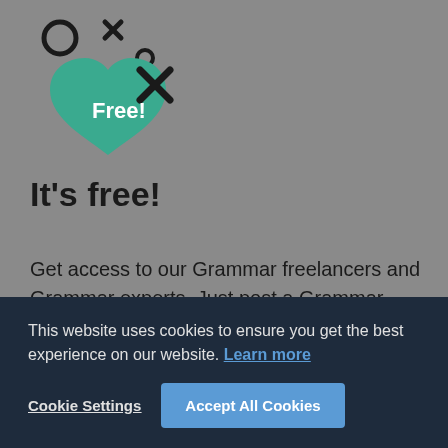[Figure (illustration): Decorative illustration with a green heart shape containing the word 'Free!' in white text, surrounded by circle, X, and small circle symbols in dark color on a gray background.]
It's free!
Get access to our Grammar freelancers and Grammar experts. Just post a Grammar project and receive non-binding offers. Our team will guide you step-by-step until the job is done. We have the right Grammar expert for every
This website uses cookies to ensure you get the best experience on our website. Learn more
Cookie Settings
Accept All Cookies